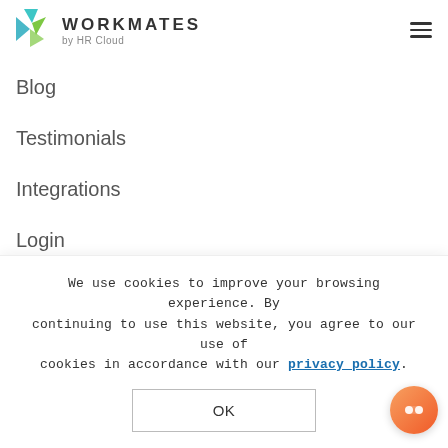WORKMATES by HR Cloud
Blog
Testimonials
Integrations
Login
Careers
Contact Us
Pricing
Support
Content Library
We use cookies to improve your browsing experience. By continuing to use this website, you agree to our use of cookies in accordance with our privacy policy.